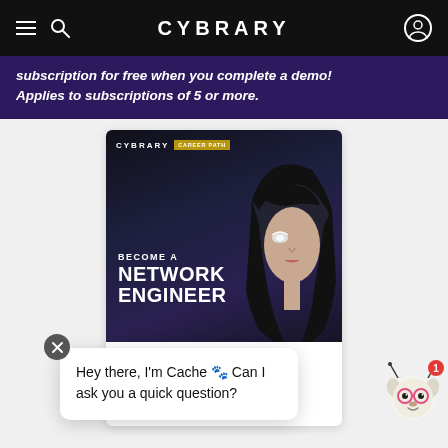CYBRARY
subscription for free when you complete a demo! Applies to subscriptions of 5 or more.
[Figure (screenshot): Cybrary Career Path promotional card showing 'BECOME A NETWORK ENGINEER' with a stylized portrait of a woman with glowing eye effects against a dark background]
CAREER PATH
Become a Network Engineer
You have chosen a fantastic career
Hey there, I'm Cache 🐾 Can I ask you a quick question?